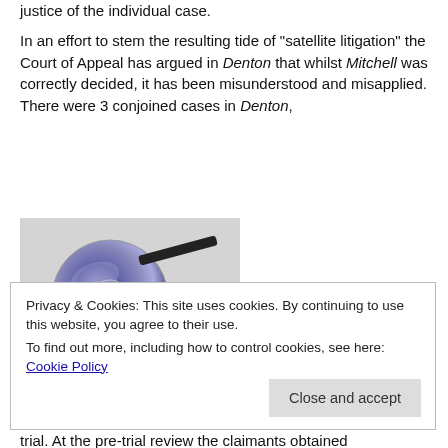justice of the individual case.
In an effort to stem the resulting tide of "satellite litigation" the Court of Appeal has argued in Denton that whilst Mitchell was correctly decided, it has been misunderstood and misapplied. There were 3 conjoined cases in Denton,
[Figure (photo): Photo of a CD or DVD disc with a stylus or pen on top of it, against a light grey background.]
[Figure (other): Advertisement banner with black background reading: Read anything great lately?]
REPORT THIS AD
Privacy & Cookies: This site uses cookies. By continuing to use this website, you agree to their use.
To find out more, including how to control cookies, see here: Cookie Policy
trial. At the pre-trial review the claimants obtained